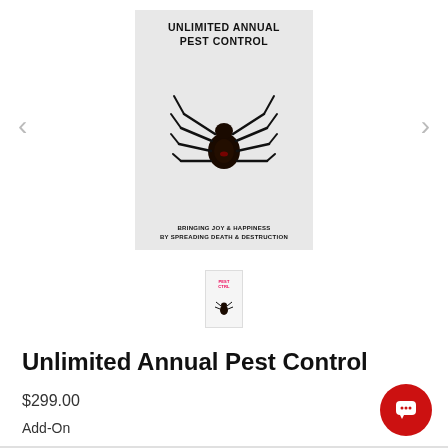[Figure (illustration): Product card with gray background showing 'UNLIMITED ANNUAL PEST CONTROL' text, a black widow spider illustration, and subtitle 'BRINGING JOY & HAPPINESS BY SPREADING DEATH & DESTRUCTION']
[Figure (thumbnail): Small thumbnail of the pest control product]
Unlimited Annual Pest Control
$299.00
Add-On